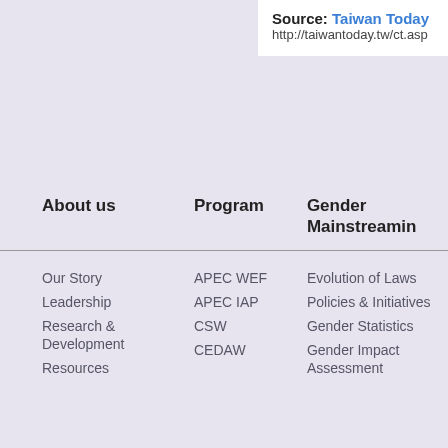Source: Taiwan Today http://taiwantoday.tw/ct.asp
About us
Program
Gender Mainstreaming
Our Story
Leadership
Research & Development
Resources
APEC WEF
APEC IAP
CSW
CEDAW
Evolution of Laws
Policies & Initiatives
Gender Statistics
Gender Impact Assessment